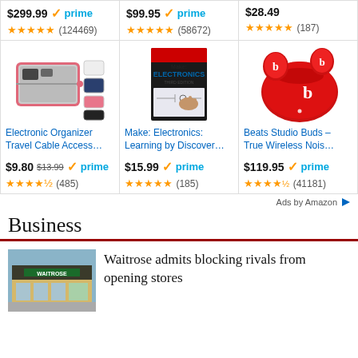[Figure (screenshot): Amazon ads grid showing product prices, ratings, and images]
Ads by Amazon
Business
[Figure (photo): Waitrose store exterior]
Waitrose admits blocking rivals from opening stores